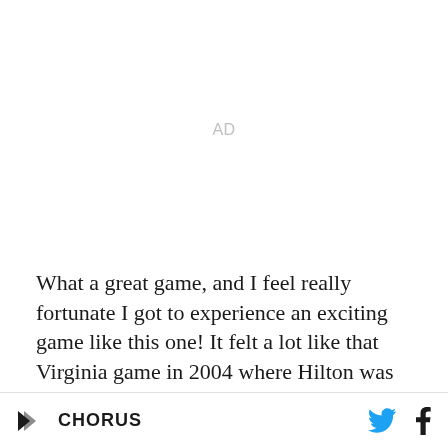[Figure (other): Advertisement placeholder area with 'AD' label in light gray]
What a great game, and I feel really fortunate I got to experience an exciting game like this one! It felt a lot like that Virginia game in 2004 where Hilton was crazy, and I think Stinson made a buzzer beater to win a very
CHORUS | Twitter | Facebook